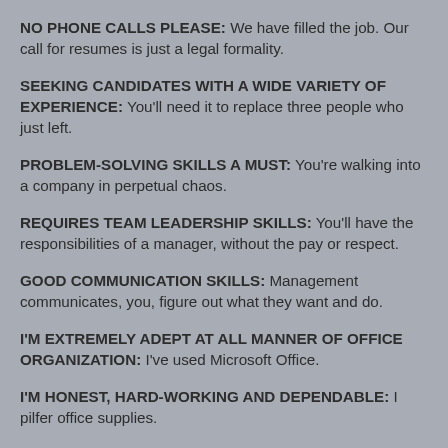NO PHONE CALLS PLEASE: We have filled the job. Our call for resumes is just a legal formality.
SEEKING CANDIDATES WITH A WIDE VARIETY OF EXPERIENCE: You'll need it to replace three people who just left.
PROBLEM-SOLVING SKILLS A MUST: You're walking into a company in perpetual chaos.
REQUIRES TEAM LEADERSHIP SKILLS: You'll have the responsibilities of a manager, without the pay or respect.
GOOD COMMUNICATION SKILLS: Management communicates, you, figure out what they want and do.
I'M EXTREMELY ADEPT AT ALL MANNER OF OFFICE ORGANIZATION: I've used Microsoft Office.
I'M HONEST, HARD-WORKING AND DEPENDABLE: I pilfer office supplies.
MY PERTINENT WORK EXPERIENCE INCLUDES: I hope